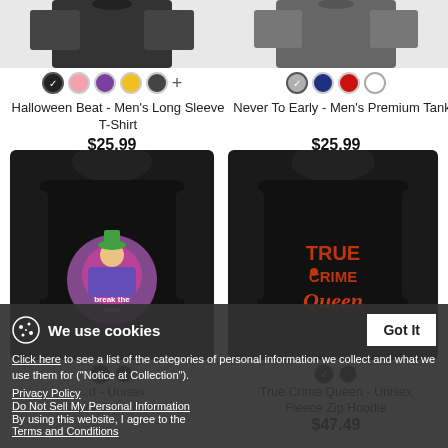[Figure (photo): Men's long sleeve black t-shirt product image (top portion)]
Color swatches: black (selected), pink, purple, yellow, dark gray, plus more
Halloween Beat - Men's Long Sleeve T-Shirt
$25.99
[Figure (photo): Men's premium tank gray/black product image (top portion)]
Color swatches: gray (selected), navy, red, white
Never To Early - Men's Premium Tank
$25.99
[Figure (photo): Black hoodie with colorful 'break the void' graphic on back - Unisex Fleece Zip Hoodie]
[Figure (photo): Black hoodie with 'True Crime Queen' text in red/orange on back - Unisex Fleece Zip Hoodie]
Color swatches for left hoodie: black (selected), black
...d - Unisex Fleece Zip Hoodie
Color swatches for right hoodie: black (selected), black
True Crime Queen - Unisex Fleece Zip Hoodie
$47.49
We use cookies
Click here to see a list of the categories of personal information we collect and what we use them for ("Notice at Collection").
Privacy Policy
Do Not Sell My Personal Information
By using this website, I agree to the Terms and Conditions
Got It